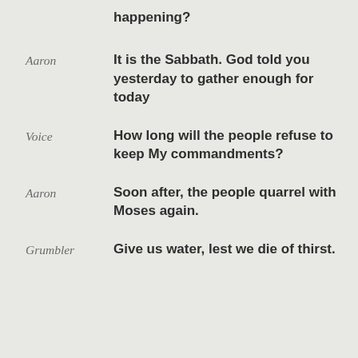happening?
Aaron: It is the Sabbath. God told you yesterday to gather enough for today
Voice: How long will the people refuse to keep My commandments?
Aaron: Soon after, the people quarrel with Moses again.
Grumbler: Give us water, lest we die of thirst.